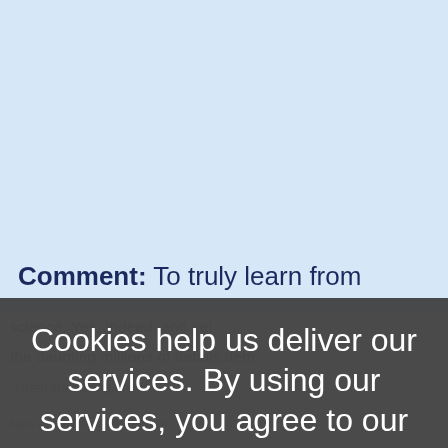Comment: To truly learn from
[Figure (screenshot): Cookie consent overlay dialog on a webpage. Dark semi-transparent overlay displays: 'Cookies help us deliver our services. By using our services, you agree to our use of cookies. Learn more [OK button]'. Behind the overlay, a webpage with a light blue background shows partial text beginning with 'Comment: To truly learn from' and other partially visible body text.]